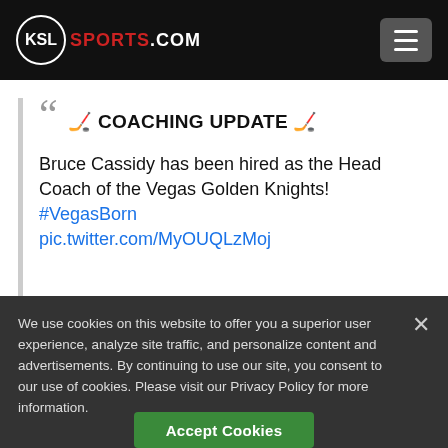KSL SPORTS.COM
❝ 🏒 COACHING UPDATE 🏒

Bruce Cassidy has been hired as the Head Coach of the Vegas Golden Knights! #VegasBorn pic.twitter.com/MyOUQLzMoj
We use cookies on this website to offer you a superior user experience, analyze site traffic, and personalize content and advertisements. By continuing to use our site, you consent to our use of cookies. Please visit our Privacy Policy for more information.
Accept Cookies